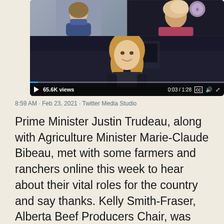[Figure (screenshot): Video screenshot showing a video call with multiple participants. Main participant is a woman with long blonde hair. Video player controls show 65.6K views, 0:03/1:28 timestamp, CC and volume icons.]
8:59 AM · Feb 23, 2021 · Twitter Media Studio
Prime Minister Justin Trudeau, along with Agriculture Minister Marie-Claude Bibeau, met with some farmers and ranchers online this week to hear about their vital roles for the country and say thanks. Kelly Smith-Fraser, Alberta Beef Producers Chair, was highlighted on Canada's Ag Day showcasing NuHaven Cattle. The video was widely viewed online including more than 220,000 views on Facebook and Twitt…